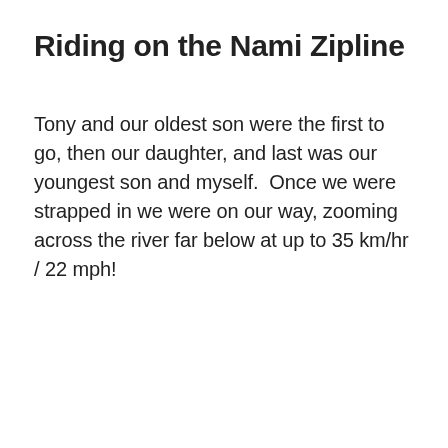Riding on the Nami Zipline
Tony and our oldest son were the first to go, then our daughter, and last was our youngest son and myself.  Once we were strapped in we were on our way, zooming across the river far below at up to 35 km/hr / 22 mph!